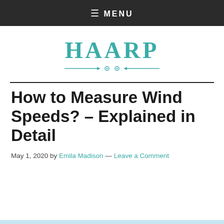≡ MENU
[Figure (logo): HAARP website logo with teal text and decorative arrow divider]
How to Measure Wind Speeds? – Explained in Detail
May 1, 2020 by Emila Madison — Leave a Comment